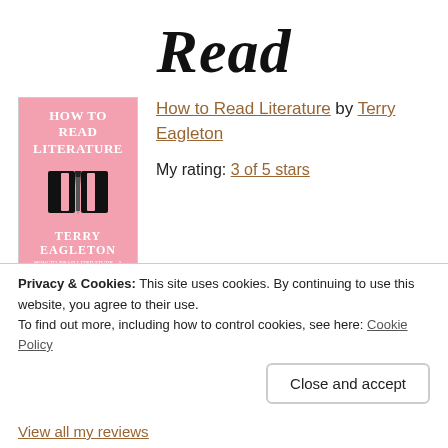Read
[Figure (illustration): Book cover for 'How to Read Literature' by Terry Eagleton. Pink background with white bold title text at top, black silhouette of an open book in the center, and 'TERRY EAGLETON' in bold white text at the bottom.]
How to Read Literature by Terry Eagleton
My rating: 3 of 5 stars
One person blurbed the back of this book as ‘Lively and engaging…English 101 in a book.” I would say Michael Lindgren hit the nail
Privacy & Cookies: This site uses cookies. By continuing to use this website, you agree to their use.
To find out more, including how to control cookies, see here: Cookie Policy
Close and accept
View all my reviews